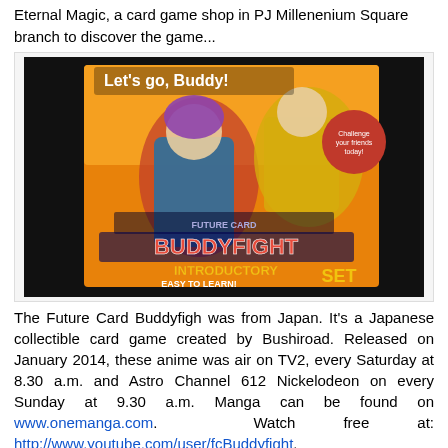Eternal Magic, a card game shop in PJ Millenenium Square branch to discover the game...
[Figure (photo): Future Card Buddyfight Introductory Set box art showing anime characters with text 'Let's go, Buddy!' and 'INTRODUCTORY SET EASY TO LEARN!']
The Future Card Buddyfigh was from Japan. It's a Japanese collectible card game created by Bushiroad. Released on January 2014, these anime was air on TV2, every Saturday at 8.30 a.m. and Astro Channel 612 Nickelodeon on every Sunday at 9.30 a.m. Manga can be found on www.onemanga.com. Watch free at: http://www.youtube.com/user/fcBuddyfight.
[Figure (photo): Two photos side by side showing card game products displayed in a shop]